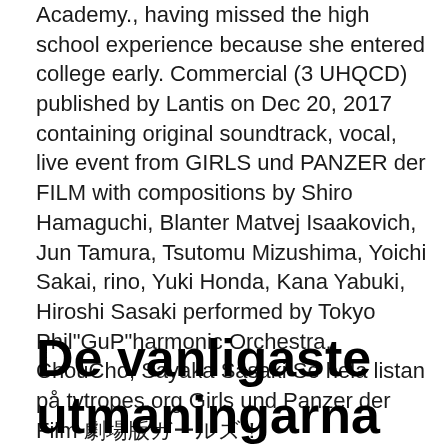Academy., having missed the high school experience because she entered college early. Commercial (3 UHQCD) published by Lantis on Dec 20, 2017 containing original soundtrack, vocal, live event from GIRLS und PANZER der FILM with compositions by Shiro Hamaguchi, Blanter Matvej Isaakovich, Jun Tamura, Tsutomu Mizushima, Yoichi Sakai, rino, Yuki Honda, Kana Yabuki, Hiroshi Sasaki performed by Tokyo Phil"GuP"harmonic Orchestra, ChouCho, Sayaka Sasaki Se hela listan på tvtropes.org Girls und Panzer der Film 劇場版ガールズ！
De vanligaste utmaningarna